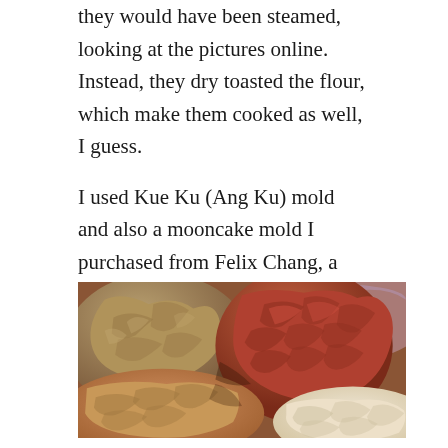they would have been steamed, looking at the pictures online. Instead, they dry toasted the flour, which make them cooked as well, I guess.
I used Kue Ku (Ang Ku) mold and also a mooncake mold I purchased from Felix Chang, a Taiwanese student at the French school 😀
[Figure (photo): Close-up photo of several ang ku kueh (mochi-style cakes) with intricate molded patterns on their surfaces. The cakes are in various colors including reddish-brown, tan/beige, and cream/white, piled together showing their decorative embossed designs.]